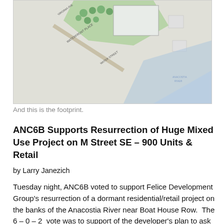[Figure (map): Aerial/plan view map showing Anacostia River area with Waterfront Place and surrounding streets, colored in greens and blues, showing building footprints and landscaping.]
And this is the footprint.
ANC6B Supports Resurrection of Huge Mixed Use Project on M Street SE – 900 Units & Retail
by Larry Janezich
Tuesday night, ANC6B voted to support Felice Development Group's resurrection of a dormant residential/retail project on the banks of the Anacostia River near Boat House Row.  The 6 – 0 – 2  vote was to support of the developer's plan to ask the DC Zoning commission to initiate  the Planned Unit Development